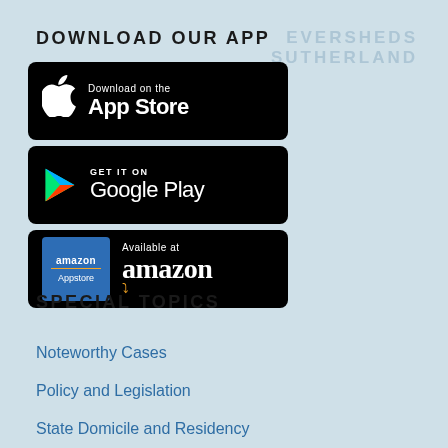DOWNLOAD OUR APP
[Figure (screenshot): App Store download button - black rectangle with Apple logo and 'Download on the App Store' text]
[Figure (screenshot): Google Play download button - black rectangle with Google Play logo and 'GET IT ON Google Play' text]
[Figure (screenshot): Amazon Appstore button - black rectangle with Amazon logo and 'Available at amazon' text]
[Figure (logo): Eversheds Sutherland watermark logo in top right corner]
SPECIAL TOPICS
Noteworthy Cases
Policy and Legislation
State Domicile and Residency
Teleworking and Business Travel